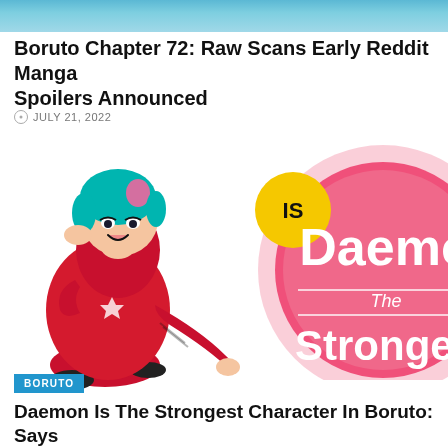[Figure (photo): Top banner image showing a blue/teal gradient strip at the top of the page]
Boruto Chapter 72: Raw Scans Early Reddit Manga Spoilers Announced
JULY 21, 2022
[Figure (illustration): Composite image: left side shows anime character Daemon in a red hoodie crouching, with teal hair and a smug expression. Right side shows a pink circle graphic with text 'Is Daemon The Strongest' with a yellow circle containing the word 'IS'. A blue tag labeled 'BORUTO' is in the lower left.]
Daemon Is The Strongest Character In Boruto: Says